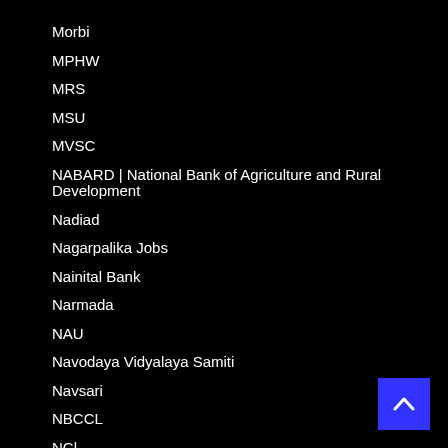Morbi
MPHW
MRS
MSU
MVSC
NABARD | National Bank of Agriculture and Rural Development
Nadiad
Nagarpalika Jobs
Nainital Bank
Narmada
NAU
Navodaya Vidyalaya Samiti
Navsari
NBCCL
NCl